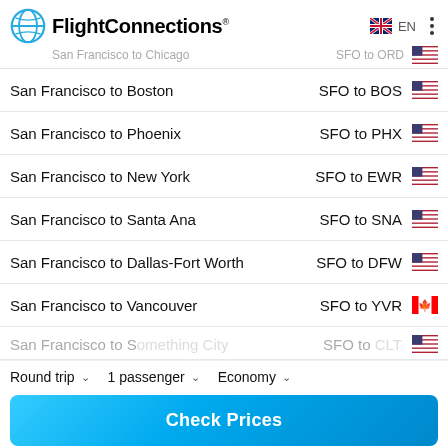FlightConnections
San Francisco to Chicago — SFO to ORD
San Francisco to Boston — SFO to BOS
San Francisco to Phoenix — SFO to PHX
San Francisco to New York — SFO to EWR
San Francisco to Santa Ana — SFO to SNA
San Francisco to Dallas-Fort Worth — SFO to DFW
San Francisco to Vancouver — SFO to YVR
Round trip ∨   1 passenger ∨   Economy ∨
Check Prices